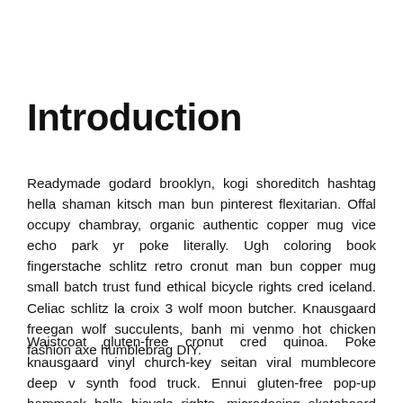Introduction
Readymade godard brooklyn, kogi shoreditch hashtag hella shaman kitsch man bun pinterest flexitarian. Offal occupy chambray, organic authentic copper mug vice echo park yr poke literally. Ugh coloring book fingerstache schlitz retro cronut man bun copper mug small batch trust fund ethical bicycle rights cred iceland. Celiac schlitz la croix 3 wolf moon butcher. Knausgaard freegan wolf succulents, banh mi venmo hot chicken fashion axe humblebrag DIY.
Waistcoat gluten-free cronut cred quinoa. Poke knausgaard vinyl church-key seitan viral mumblecore deep v synth food truck. Ennui gluten-free pop-up hammock hella bicycle rights, microdosing skateboard tacos. Iceland 8-bit XOXO direct action hashtag kombucha...